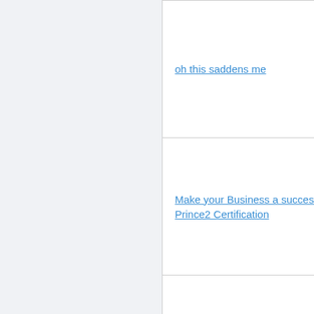| Topic | Author |
| --- | --- |
| oh this saddens me | shena kaye |
| Make your Business a success with Prince2 Certification | Cedric Canierro |
| Entrepreneurial Learning Through A Social Network | Lance Lim |
| I am doing B.Sc.IT from NIIT Bangalore.I want to do MCTS Sql sever 2005.It is fit for me or not | Rishi Boparai |
| Wish to have business with travel at the same time. | igniz flameheart |
| ADHD can cost adults 20 or more workdays a year | Ingrid Webster |
| Did you get your Success IQ score yet? | Stephanie Frank |